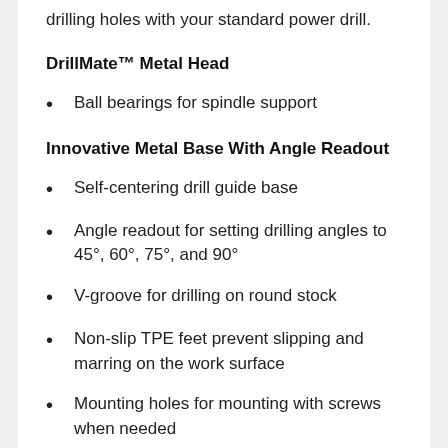drilling holes with your standard power drill.
DrillMate™ Metal Head
Ball bearings for spindle support
Innovative Metal Base With Angle Readout
Self-centering drill guide base
Angle readout for setting drilling angles to 45°, 60°, 75°, and 90°
V-groove for drilling on round stock
Non-slip TPE feet prevent slipping and marring on the work surface
Mounting holes for mounting with screws when needed
Metal Angle Adjusters
Allows you to easily lock your selected drilling angle into place